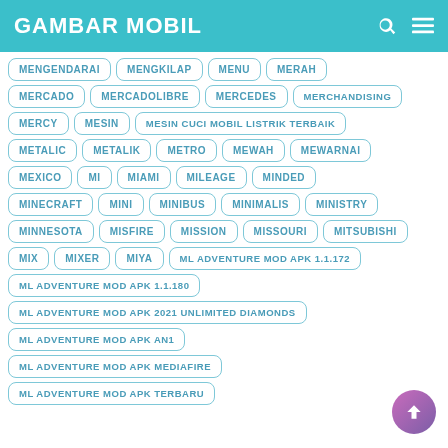GAMBAR MOBIL
MENGENDARAI
MENGKILAP
MENU
MERAH
MERCADO
MERCADOLIBRE
MERCEDES
MERCHANDISING
MERCY
MESIN
MESIN CUCI MOBIL LISTRIK TERBAIK
METALIC
METALIK
METRO
MEWAH
MEWARNAI
MEXICO
MI
MIAMI
MILEAGE
MINDED
MINECRAFT
MINI
MINIBUS
MINIMALIS
MINISTRY
MINNESOTA
MISFIRE
MISSION
MISSOURI
MITSUBISHI
MIX
MIXER
MIYA
ML ADVENTURE MOD APK 1.1.172
ML ADVENTURE MOD APK 1.1.180
ML ADVENTURE MOD APK 2021 UNLIMITED DIAMONDS
ML ADVENTURE MOD APK AN1
ML ADVENTURE MOD APK MEDIAFIRE
ML ADVENTURE MOD APK TERBARU